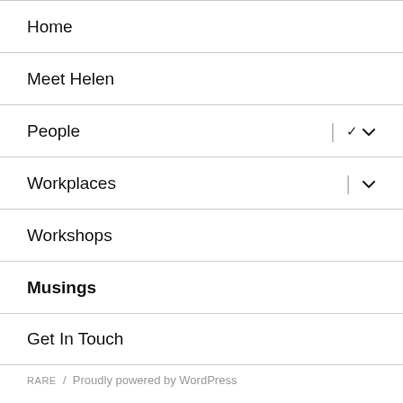Home
Meet Helen
People
Workplaces
Workshops
Musings
Get In Touch
RARE / Proudly powered by WordPress